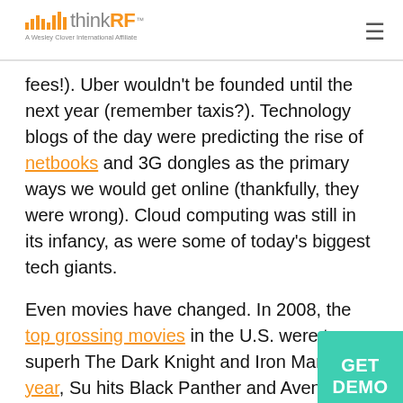thinkRF™ — A Wesley Clover International Affiliate
fees!). Uber wouldn't be founded until the next year (remember taxis?). Technology blogs of the day were predicting the rise of netbooks and 3G dongles as the primary ways we would get online (thankfully, they were wrong). Cloud computing was still in its infancy, as were some of today's biggest tech giants.
Even movies have changed. In 2008, the top grossing movies in the U.S. were two superh... The Dark Knight and Iron Man. Last year, Su... hits Black Panther and Avengers: Infinity War...
OK, so not everything is so different than it was than...